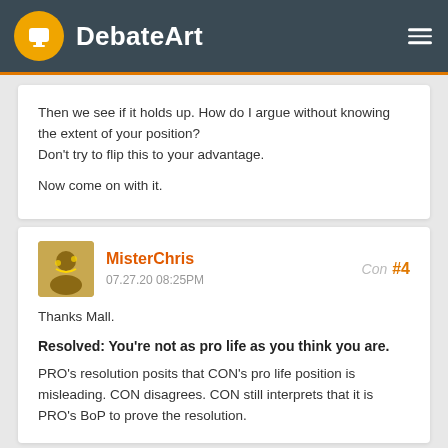DebateArt
Then we see if it holds up. How do I argue without knowing the extent of your position?
Don't try to flip this to your advantage.

Now come on with it.
MisterChris
07.27.20 08:25PM
Con #4
Thanks Mall.

Resolved: You're not as pro life as you think you are.

PRO's resolution posits that CON's pro life position is misleading. CON disagrees. CON still interprets that it is PRO's BoP to prove the resolution.